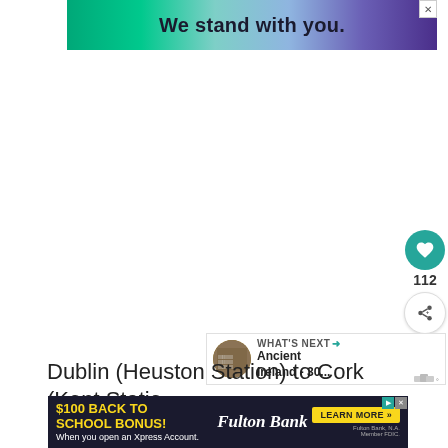[Figure (other): Top advertisement banner with gradient background from teal to purple, text 'We stand with you.' in dark bold font, close button top right]
[Figure (other): Floating sidebar with teal heart/like button, like count 112, share button with plus icon]
[Figure (other): What's Next panel showing circular image of ancient Ireland and text 'WHAT'S NEXT → Ancient Ireland - 30...']
Dublin (Heuston Station) to Cork (Kent Statio...
Dublin – the average journey takes approximately 2 hours
and...
[Figure (other): Bottom Fulton Bank advertisement: '$100 BACK TO SCHOOL BONUS!' in yellow on dark background, Fulton Bank logo, LEARN MORE button, fine print]